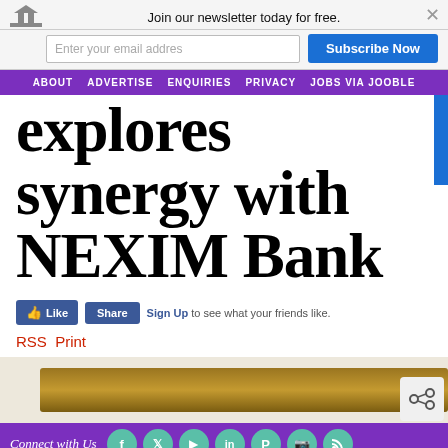Join our newsletter today for free.
Enter your email addres
Subscribe Now
ABOUT  ADVERTISE  ENQUIRIES  PRIVACY  JOBS VIA JOOBLE
explores synergy with NEXIM Bank
[Figure (screenshot): Facebook Like and Share buttons with Sign Up link text: 'Sign Up to see what your friends like.']
RSS  Print
[Figure (photo): Partial photo of a person, brown wooden frame visible]
Connect with Us — social media icons: Facebook, Twitter, YouTube, LinkedIn, Pinterest, Instagram, RSS